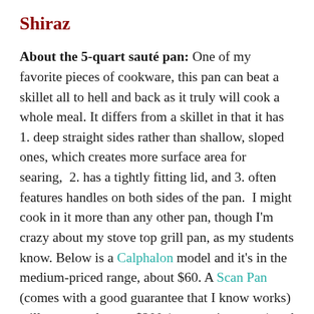Shiraz
About the 5-quart sauté pan: One of my favorite pieces of cookware, this pan can beat a skillet all to hell and back as it truly will cook a whole meal. It differs from a skillet in that it has 1. deep straight sides rather than shallow, sloped ones, which creates more surface area for searing,  2. has a tightly fitting lid, and 3. often features handles on both sides of the pan.  I might cook in it more than any other pan, though I'm crazy about my stove top grill pan, as my students know. Below is a Calphalon model and it's in the medium-priced range, about $60. A Scan Pan (comes with a good guarantee that I know works) will run you close to $200 (upper price range) and you might find